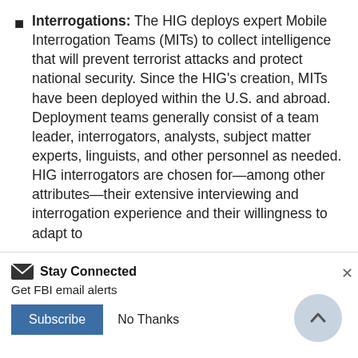Interrogations: The HIG deploys expert Mobile Interrogation Teams (MITs) to collect intelligence that will prevent terrorist attacks and protect national security. Since the HIG's creation, MITs have been deployed within the U.S. and abroad. Deployment teams generally consist of a team leader, interrogators, analysts, subject matter experts, linguists, and other personnel as needed. HIG interrogators are chosen for—among other attributes—their extensive interviewing and interrogation experience and their willingness to adapt to
Stay Connected
Get FBI email alerts
Subscribe  No Thanks